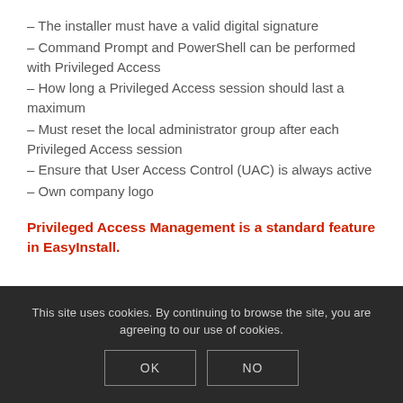– The installer must have a valid digital signature
– Command Prompt and PowerShell can be performed with Privileged Access
– How long a Privileged Access session should last a maximum
– Must reset the local administrator group after each Privileged Access session
– Ensure that User Access Control (UAC) is always active
– Own company logo
Privileged Access Management is a standard feature in EasyInstall.
This site uses cookies. By continuing to browse the site, you are agreeing to our use of cookies. OK NO